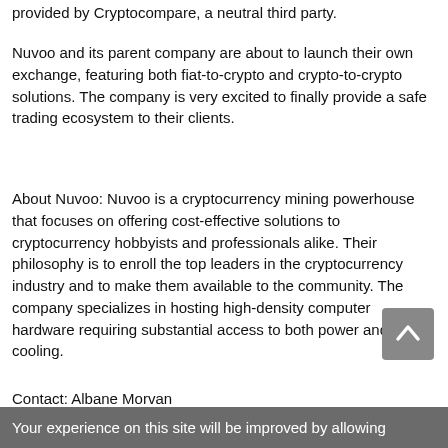provided by Cryptocompare, a neutral third party.
Nuvoo and its parent company are about to launch their own exchange, featuring both fiat-to-crypto and crypto-to-crypto solutions. The company is very excited to finally provide a safe trading ecosystem to their clients.
About Nuvoo: Nuvoo is a cryptocurrency mining powerhouse that focuses on offering cost-effective solutions to cryptocurrency hobbyists and professionals alike. Their philosophy is to enroll the top leaders in the cryptocurrency industry and to make them available to the community. The company specializes in hosting high-density computer hardware requiring substantial access to both power and cooling.
Contact: Albane Morvan
Your experience on this site will be improved by allowing